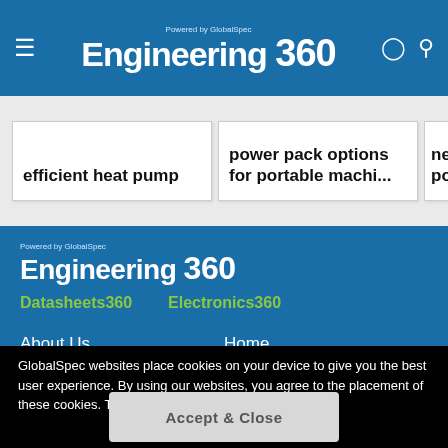Engineering 360 — Powered by GlobalSpec
efficient heat pump
power pack options for portable machi...
new port...
[Figure (logo): Engineering 360 logo with 'Powered by GlobalSpec' above, white text on blue background]
Datasheets360
Electronics360
About Us
Home
Get Listed With Us
Site Map
Advertise With Us
Top Categories
GlobalSpec websites place cookies on your device to give you the best user experience. By using our websites, you agree to the placement of these cookies. To learn more, read our Privacy Policy
Accept & Close